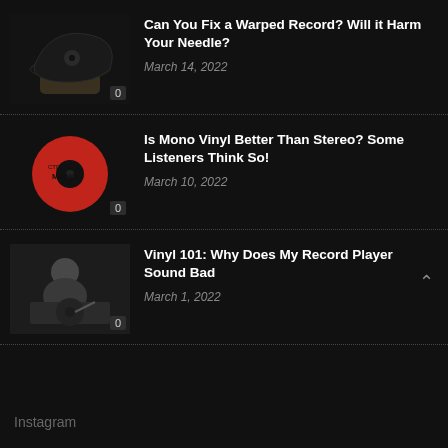[Figure (photo): A warped vinyl record being held up, showing its bent shape]
Can You Fix a Warped Record? Will it Harm Your Needle?
March 14, 2022
[Figure (photo): A red vinyl record label showing the word MONO]
Is Mono Vinyl Better Than Stereo? Some Listeners Think So!
March 10, 2022
[Figure (photo): Black and white photo of a person operating a record player]
Vinyl 101: Why Does My Record Player Sound Bad
March 1, 2022
Instagram